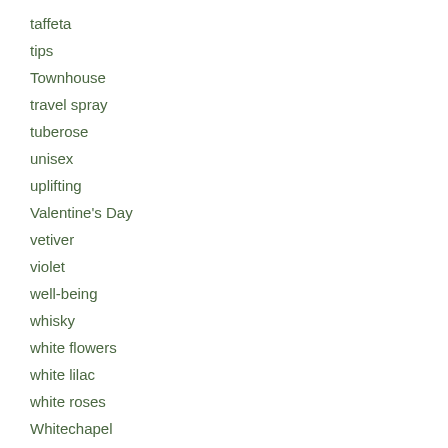taffeta
tips
Townhouse
travel spray
tuberose
unisex
uplifting
Valentine's Day
vetiver
violet
well-being
whisky
white flowers
white lilac
white roses
Whitechapel